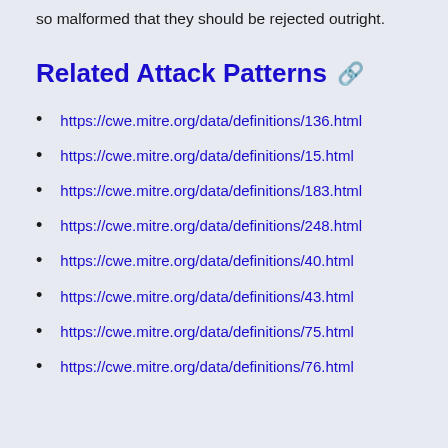so malformed that they should be rejected outright.
Related Attack Patterns
https://cwe.mitre.org/data/definitions/136.html
https://cwe.mitre.org/data/definitions/15.html
https://cwe.mitre.org/data/definitions/183.html
https://cwe.mitre.org/data/definitions/248.html
https://cwe.mitre.org/data/definitions/40.html
https://cwe.mitre.org/data/definitions/43.html
https://cwe.mitre.org/data/definitions/75.html
https://cwe.mitre.org/data/definitions/76.html